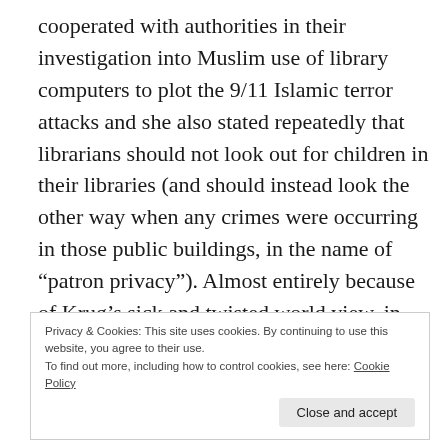cooperated with authorities in their investigation into Muslim use of library computers to plot the 9/11 Islamic terror attacks and she also stated repeatedly that librarians should not look out for children in their libraries (and should instead look the other way when any crimes were occurring in those public buildings, in the name of “patron privacy”). Almost entirely because of Krug’s sick and twisted world view, in just a generation public libraries were transformed from
Privacy & Cookies: This site uses cookies. By continuing to use this website, you agree to their use.
To find out more, including how to control cookies, see here: Cookie Policy